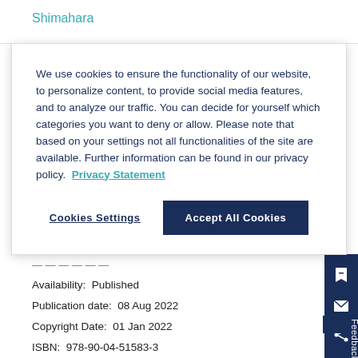Shimahara
We use cookies to ensure the functionality of our website, to personalize content, to provide social media features, and to analyze our traffic. You can decide for yourself which categories you want to deny or allow. Please note that based on your settings not all functionalities of the site are available. Further information can be found in our privacy policy. Privacy Statement
Cookies Settings
Accept All Cookies
Availability:  Published
Publication date:  08 Aug 2022
Copyright Date:  01 Jan 2022
ISBN:  978-90-04-51583-3
List price
EUR  €155.00 / USD  $186.00
Hardback